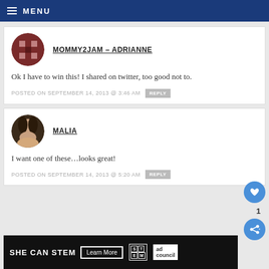MENU
MOMMY2JAM – ADRIANNE
Ok I have to win this! I shared on twitter, too good not to.
POSTED ON SEPTEMBER 14, 2013 @ 3:46 AM  REPLY
MALIA
I want one of these…looks great!
POSTED ON SEPTEMBER 14, 2013 @ 5:20 AM  REPLY
[Figure (screenshot): SHE CAN STEM advertisement banner with Learn More button, STEM and ad council logos]